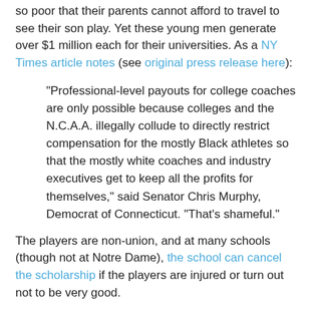so poor that their parents cannot afford to travel to see their son play. Yet these young men generate over $1 million each for their universities. As a NY Times article notes (see original press release here):
“Professional-level payouts for college coaches are only possible because colleges and the N.C.A.A. illegally collude to directly restrict compensation for the mostly Black athletes so that the mostly white coaches and industry executives get to keep all the profits for themselves,” said Senator Chris Murphy, Democrat of Connecticut. “That’s shameful.”
The players are non-union, and at many schools (though not at Notre Dame), the school can cancel the scholarship if the players are injured or turn out not to be very good.
Many pundits heaped contempt on Kelly for abandoning his players before they even knew whether they would be playing for the national championship.(See one example here.) Dan Wolken of USA Today wrote: